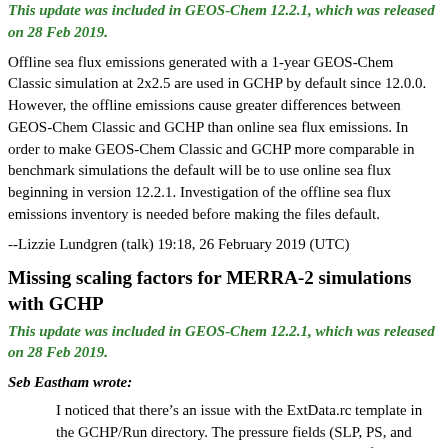This update was included in GEOS-Chem 12.2.1, which was released on 28 Feb 2019.
Offline sea flux emissions generated with a 1-year GEOS-Chem Classic simulation at 2x2.5 are used in GCHP by default since 12.0.0. However, the offline emissions cause greater differences between GEOS-Chem Classic and GCHP than online sea flux emissions. In order to make GEOS-Chem Classic and GCHP more comparable in benchmark simulations the default will be to use online sea flux beginning in version 12.2.1. Investigation of the offline sea flux emissions inventory is needed before making the files default.
--Lizzie Lundgren (talk) 19:18, 26 February 2019 (UTC)
Missing scaling factors for MERRA-2 simulations with GCHP
This update was included in GEOS-Chem 12.2.1, which was released on 28 Feb 2019.
Seb Eastham wrote:
I noticed that there’s an issue with the ExtData.rc template in the GCHP/Run directory. The pressure fields (SLP, PS, and TROPPT) are all expected to be in hPa. This is true for GEOS-